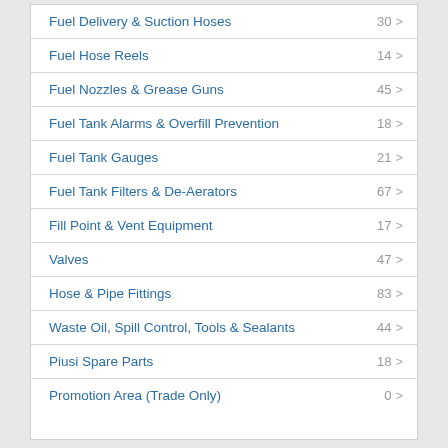Fuel Delivery & Suction Hoses 30
Fuel Hose Reels 14
Fuel Nozzles & Grease Guns 45
Fuel Tank Alarms & Overfill Prevention 18
Fuel Tank Gauges 21
Fuel Tank Filters & De-Aerators 67
Fill Point & Vent Equipment 17
Valves 47
Hose & Pipe Fittings 83
Waste Oil, Spill Control, Tools & Sealants 44
Piusi Spare Parts 18
Promotion Area (Trade Only) 0